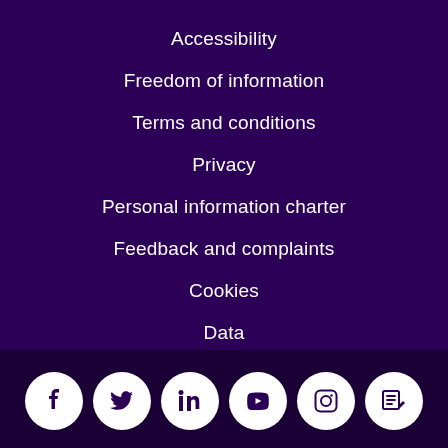Accessibility
Freedom of information
Terms and conditions
Privacy
Personal information charter
Feedback and complaints
Cookies
Data
GOV.UK
[Figure (other): Social media icons row: Facebook, Twitter, LinkedIn, YouTube, Instagram, Blog/edit icon — white circles on dark purple background]